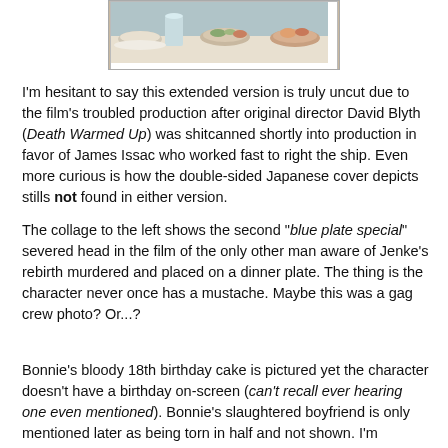[Figure (photo): Partial photograph showing food items on a table including what appears to be a glass and bowls of food, cropped at the top of the page]
I'm hesitant to say this extended version is truly uncut due to the film's troubled production after original director David Blyth (Death Warmed Up) was shitcanned shortly into production in favor of James Issac who worked fast to right the ship. Even more curious is how the double-sided Japanese cover depicts stills not found in either version.
The collage to the left shows the second "blue plate special" severed head in the film of the only other man aware of Jenke's rebirth murdered and placed on a dinner plate. The thing is the character never once has a mustache. Maybe this was a gag crew photo? Or...?
Bonnie's bloody 18th birthday cake is pictured yet the character doesn't have a birthday on-screen (can't recall ever hearing one even mentioned). Bonnie's slaughtered boyfriend is only mentioned later as being torn in half and not shown. I'm assuming this was meant to be shown after his torso falls in front of his screaming girlfriend. The deep fried